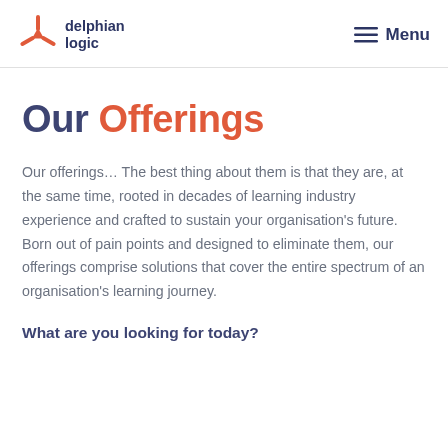[Figure (logo): Delphian Logic logo with red three-pronged symbol and dark blue text reading 'delphian logic']
≡ Menu
Our Offerings
Our offerings… The best thing about them is that they are, at the same time, rooted in decades of learning industry experience and crafted to sustain your organisation's future. Born out of pain points and designed to eliminate them, our offerings comprise solutions that cover the entire spectrum of an organisation's learning journey.
What are you looking for today?